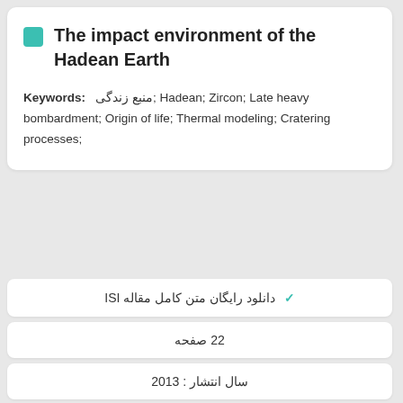The impact environment of the Hadean Earth
Keywords: منبع زندگی; Hadean; Zircon; Late heavy bombardment; Origin of life; Thermal modeling; Cratering processes;
✓ دانلود رایگان متن کامل مقاله ISI
22 صفحه
سال انتشار : 2013
✓ سفارش ترجمه